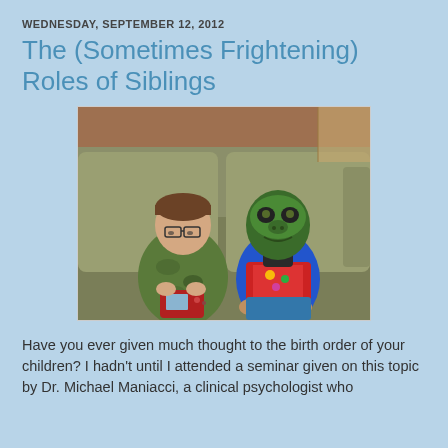WEDNESDAY, SEPTEMBER 12, 2012
The (Sometimes Frightening) Roles of Siblings
[Figure (photo): Two children sitting on a couch. The child on the left wears glasses and camouflage pajamas and is looking at a handheld game device. The child on the right wears a green dinosaur/monster mask and a colorful red and blue shirt.]
Have you ever given much thought to the birth order of your children? I hadn't until I attended a seminar given on this topic by Dr. Michael Maniacci, a clinical psychologist who